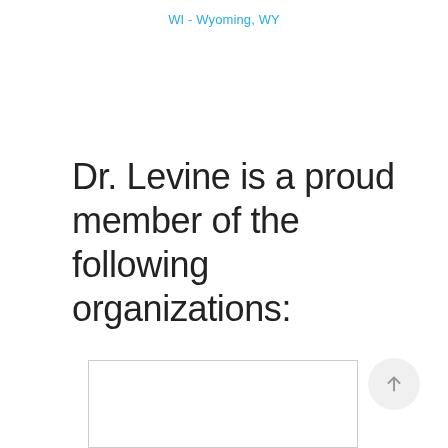WI - Wyoming, WY
Dr. Levine is a proud member of the following organizations:
[Figure (other): Scroll-to-top button with upward arrow icon, circular light gray background]